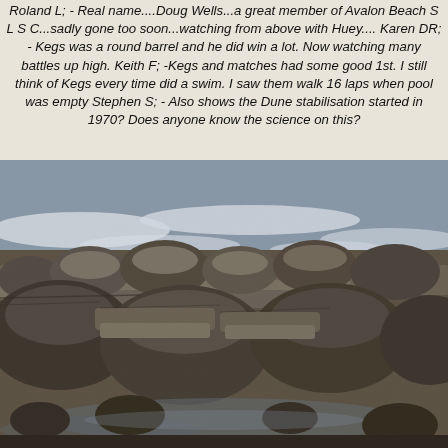Roland L; - Real name....Doug Wells...a great member of Avalon Beach S L S C...sadly gone too soon...watching from above with Huey.... Karen DR; - Kegs was a round barrel and he did win a lot. Now watching many battles up high. Keith F; -Kegs and matches had some good 1st. I still think of Kegs every time did a swim. I saw them walk 16 laps when pool was empty  Stephen S; - Also shows the Dune stabilisation started in 1970? Does anyone know the science on this?
[Figure (photo): Black and white photograph of a rocky coastline with large boulders and flat rocks in the foreground, ocean waves and white water visible in the background.]